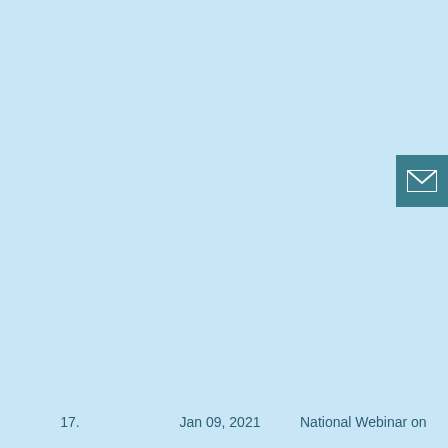[Figure (other): Email/envelope icon button in teal/dark cyan color, positioned at the top right edge of the page]
17.    Jan 09, 2021    National Webinar on